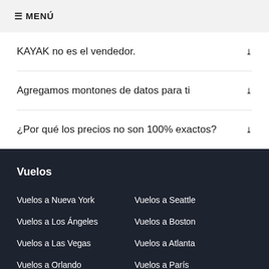≡ MENÚ
KAYAK no es el vendedor.
Agregamos montones de datos para ti
¿Por qué los precios no son 100% exactos?
Vuelos
Vuelos a Nueva York
Vuelos a Seattle
Vuelos a Los Ángeles
Vuelos a Boston
Vuelos a Las Vegas
Vuelos a Atlanta
Vuelos a Orlando
Vuelos a París